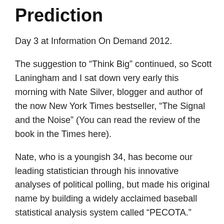Prediction
Day 3 at Information On Demand 2012.
The suggestion to “Think Big” continued, so Scott Laningham and I sat down very early this morning with Nate Silver, blogger and author of the now New York Times bestseller, “The Signal and the Noise” (You can read the review of the book in the Times here).
Nate, who is a youngish 34, has become our leading statistician through his innovative analyses of political polling, but made his original name by building a widely acclaimed baseball statistical analysis system called “PECOTA.”
Today, Nate runs the award-winning political website FiveThirtyEight.com, which is now published in The New